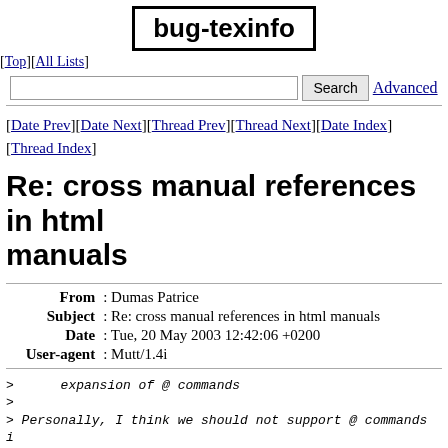bug-texinfo
[Top][All Lists]
Search  Advanced
[Date Prev][Date Next][Thread Prev][Thread Next][Date Index][Thread Index]
Re: cross manual references in html manuals
| From | Dumas Patrice |
| Subject | Re: cross manual references in html manuals |
| Date | Tue, 20 May 2003 12:42:06 +0200 |
| User-agent | Mutt/1.4i |
>      expansion of @ commands
>
> Personally, I think we should not support @ commands i
> Period.  Including accent commands and everything else
> should support normal 8-bit chars as text.
I will make the point one more time that 8-bit chars are